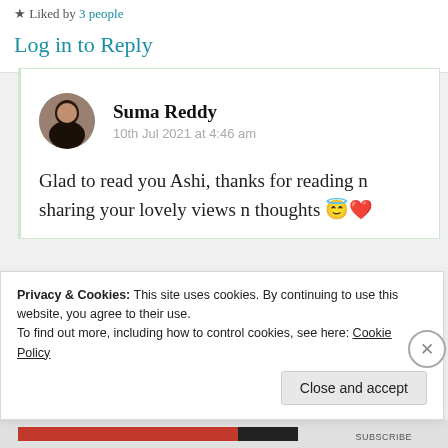Liked by 3 people
Log in to Reply
Suma Reddy
10th Jul 2021 at 4:46 am
Glad to read you Ashi, thanks for reading n sharing your lovely views n thoughts 😇❤
Privacy & Cookies: This site uses cookies. By continuing to use this website, you agree to their use.
To find out more, including how to control cookies, see here: Cookie Policy
Close and accept